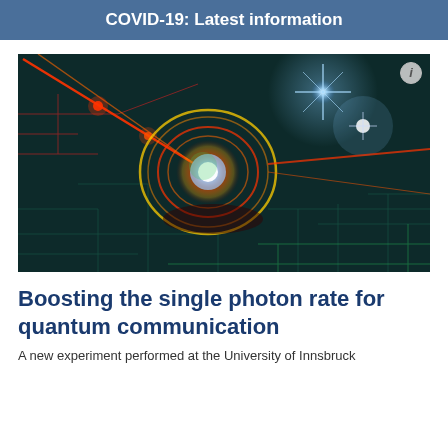COVID-19: Latest information
[Figure (illustration): Artistic illustration of a quantum photon/particle with glowing red orbital rings, bright white-blue center, on a dark teal circuit board background with light beams and star-like light effects]
Boosting the single photon rate for quantum communication
A new experiment performed at the University of Innsbruck...